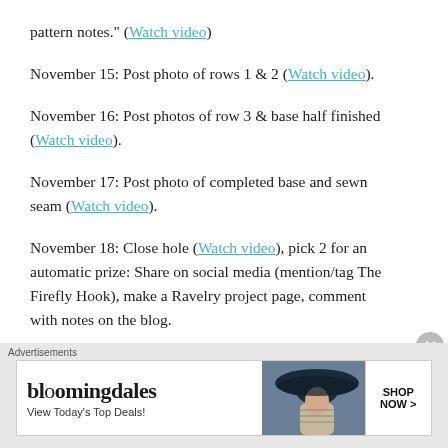pattern notes.” (Watch video)
November 15: Post photo of rows 1 & 2 (Watch video).
November 16: Post photos of row 3 & base half finished (Watch video).
November 17: Post photo of completed base and sewn seam (Watch video).
November 18: Close hole (Watch video), pick 2 for an automatic prize: Share on social media (mention/tag The Firefly Hook), make a Ravelry project page, comment with notes on the blog.
Advertisements
[Figure (photo): Bloomingdales advertisement banner: bloomingdales logo, View Today’s Top Deals!, photo of woman in large navy hat, SHOP NOW > button]